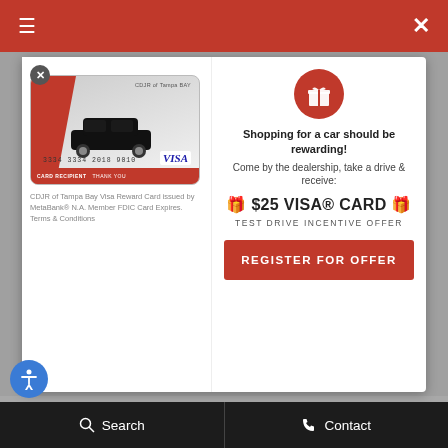[Figure (screenshot): Red top navigation bar with hamburger menu icon on left and X close icon on right]
[Figure (screenshot): Modal popup with Visa reward card image on left and $25 Visa Card test drive incentive offer on right with Register for Offer button]
CDJR of Tampa Bay Visa Reward Card issued by MetaBank® N.A. Member FDIC Card Expires. Terms & Conditions
Shopping for a car should be rewarding! Come by the dealership, take a drive & receive:
🎁 $25 VISA® CARD 🎁
TEST DRIVE INCENTIVE OFFER
REGISTER FOR OFFER
Main: 813-638-0436
Sales: 813-638-0436
Service: 813-497-2969
Parts: 813-906-0712
Sales Hours:
Sun 11:00 AM - 5:00 PM
Mon - Fri 9:00 AM - 8:00 PM
Sat 9:00 AM - 7:00 PM
Service & Parts
Mon - Fri 7:30 AM - 6:00 PM